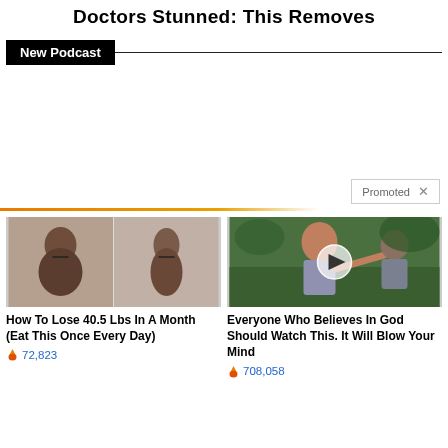Doctors Stunned: This Removes
New Podcast
[Figure (other): Advertisement/promotional area (blank white space)]
Promoted ×
[Figure (photo): Before and after weight loss photo showing woman's back]
How To Lose 40.5 Lbs In A Month (Eat This Once Every Day)
72,823
[Figure (photo): Video thumbnail showing a woman pointing, with a play button overlay]
Everyone Who Believes In God Should Watch This. It Will Blow Your Mind
708,058